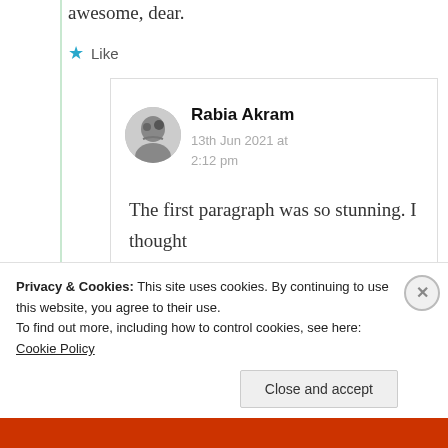awesome, dear.
★ Like
Rabia Akram
13th Jun 2021 at 2:12 pm
The first paragraph was so stunning. I thought
Privacy & Cookies: This site uses cookies. By continuing to use this website, you agree to their use. To find out more, including how to control cookies, see here: Cookie Policy
Close and accept